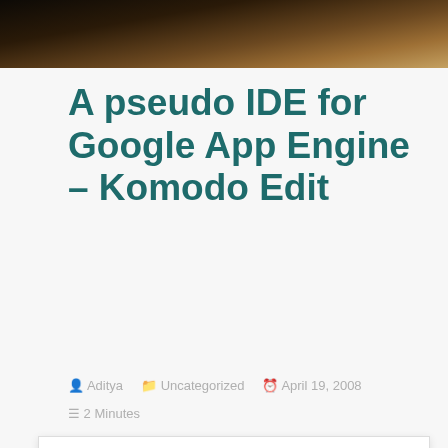[Figure (photo): Header image showing a dark brown sandy/rocky textured surface, landscape photo]
A pseudo IDE for Google App Engine – Komodo Edit
Aditya   Uncategorized   April 19, 2008   2 Minutes
Privacy & Cookies: This site uses cookies. By continuing to use this website, you agree to their use. To find out more, including how to control cookies, see here: Cookie Policy
tried out the tutorial for creating a guest book. It is a